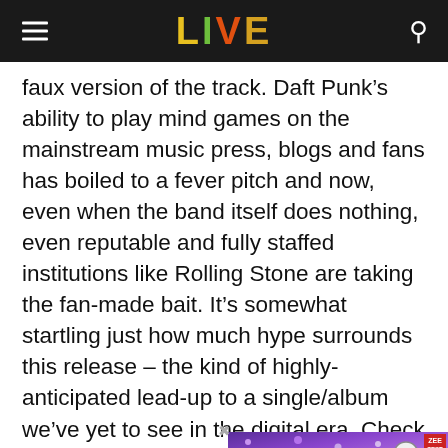LIVE
faux version of the track. Daft Punk’s ability to play mind games on the mainstream music press, blogs and fans has boiled to a fever pitch and now, even when the band itself does nothing, even reputable and fully staffed institutions like Rolling Stone are taking the fan-made bait. It’s somewhat startling just how much hype surrounds this release – the kind of highly-anticipated lead-up to a single/album we’ve yet to see in the digital era. Check out the version played on a Dutch r
[Figure (other): Advertisement banner overlay with purple galaxy/sparkle texture, partially obscuring text. Contains a red badge in top-right corner.]